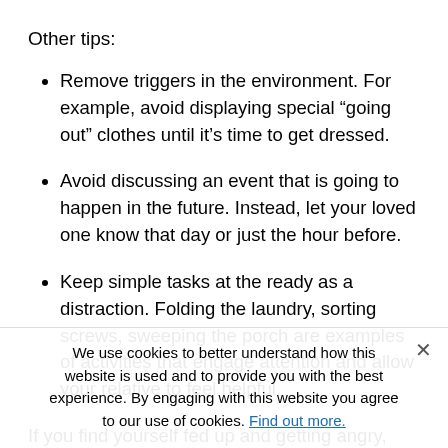Other tips:
Remove triggers in the environment. For example, avoid displaying special “going out” clothes until it’s time to get dressed.
Avoid discussing an event that is going to happen in the future. Instead, let your loved one know that day or just the hour before.
Keep simple tasks at the ready as a distraction. Folding the laundry, sorting screws, sweeping the porch are examples of activities that engage attention and allow your relative to feel helpful.
If you find yourself fed up and getting angry, leave the room. Take a few minutes to compose yourself. Repetitive questions are normal in dementia: best to accept the fact and train yourself to tolerate it. Stay away from your relative.
We use cookies to better understand how this website is used and to provide you with the best experience. By engaging with this website you agree to our use of cookies. Find out more.